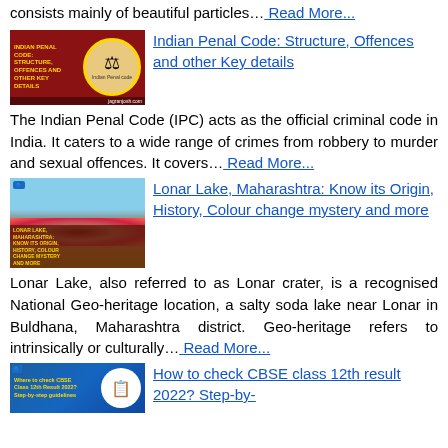consists mainly of beautiful particles… Read More...
[Figure (illustration): Indian Penal Code article thumbnail with red background, Ashoka emblem in gold circle, and title text in yellow]
Indian Penal Code: Structure, Offences and other Key details
The Indian Penal Code (IPC) acts as the official criminal code in India. It caters to a wide range of crimes from robbery to murder and sexual offences. It covers… Read More...
[Figure (photo): Lonar Lake, Maharashtra aerial photo showing reddish crater lake with surrounding landscape, article thumbnail]
Lonar Lake, Maharashtra: Know its Origin, History, Colour change mystery and more
Lonar Lake, also referred to as Lonar crater, is a recognised National Geo-heritage location, a salty soda lake near Lonar in Buldhana, Maharashtra district. Geo-heritage refers to intrinsically or culturally… Read More...
[Figure (illustration): CBSE class 12th result 2022 article thumbnail with blue background and clipboard icon]
How to check CBSE class 12th result 2022? Step-by-